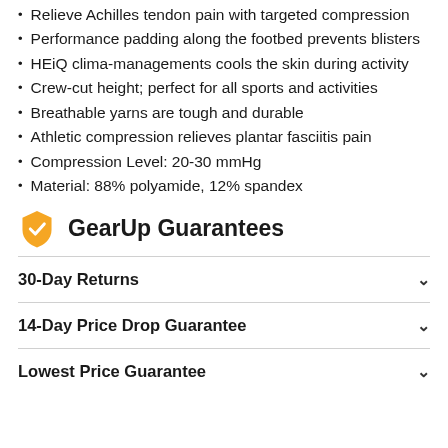Relieve Achilles tendon pain with targeted compression
Performance padding along the footbed prevents blisters
HEiQ clima-managements cools the skin during activity
Crew-cut height; perfect for all sports and activities
Breathable yarns are tough and durable
Athletic compression relieves plantar fasciitis pain
Compression Level: 20-30 mmHg
Material: 88% polyamide, 12% spandex
GearUp Guarantees
30-Day Returns
14-Day Price Drop Guarantee
Lowest Price Guarantee